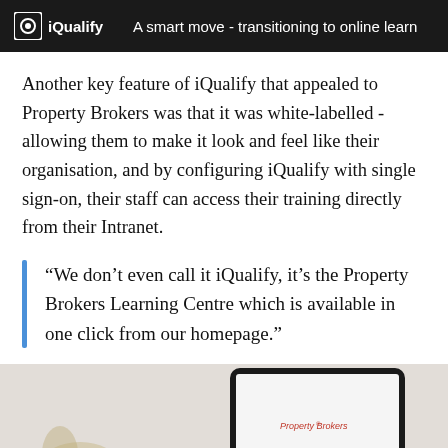iQualify   A smart move - transitioning to online learn
Another key feature of iQualify that appealed to Property Brokers was that it was white-labelled - allowing them to make it look and feel like their organisation, and by configuring iQualify with single sign-on, their staff can access their training directly from their Intranet.
“We don’t even call it iQualify, it’s the Property Brokers Learning Centre which is available in one click from our homepage.”
[Figure (photo): A tablet device showing the Property Brokers branding on screen, placed on a light-coloured surface alongside what appears to be a decorative item.]